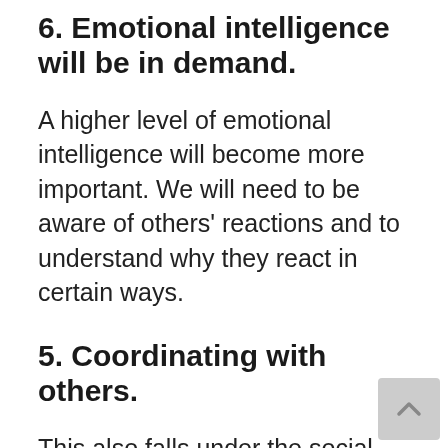6. Emotional intelligence will be in demand.
A higher level of emotional intelligence will become more important. We will need to be aware of others' reactions and to understand why they react in certain ways.
5. Coordinating with others.
This also falls under the social skill umbrella and involves the ability of being able to collaborate and adjust